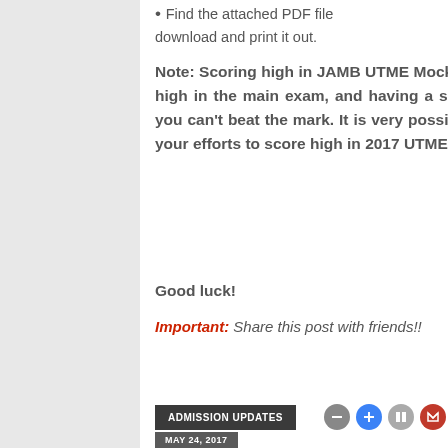Find the attached PDF file download and print it out.
Note: Scoring high in JAMB UTME Mock is not a guarantee that you will score high in the main exam, and having a score below 200 is not a warranty that you can't beat the mark. It is very possible to score above 200. Don't relent in your efforts to score high in 2017 UTME. Keep reading your books.
Good luck!
Important: Share this post with friends!!
ADMISSION UPDATES  MAY 24, 2017